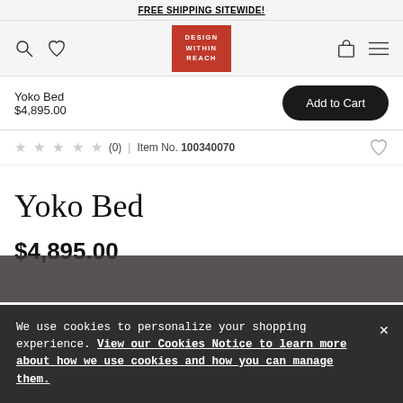FREE SHIPPING SITEWIDE!
[Figure (logo): Design Within Reach logo - red square with white text]
Yoko Bed
$4,895.00
Add to Cart
★★★★★ (0) | Item No. 100340070
Yoko Bed
$4,895.00
We use cookies to personalize your shopping experience. View our Cookies Notice to learn more about how we use cookies and how you can manage them.